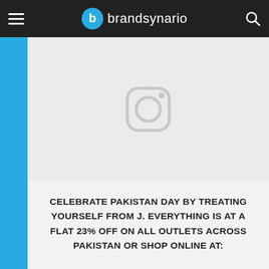brandsynario
[Figure (screenshot): Instagram placeholder image with camera icon on light gray background]
CELEBRATE PAKISTAN DAY BY TREATING YOURSELF FROM J. EVERYTHING IS AT A FLAT 23% OFF ON ALL OUTLETS ACROSS PAKISTAN OR SHOP ONLINE AT: